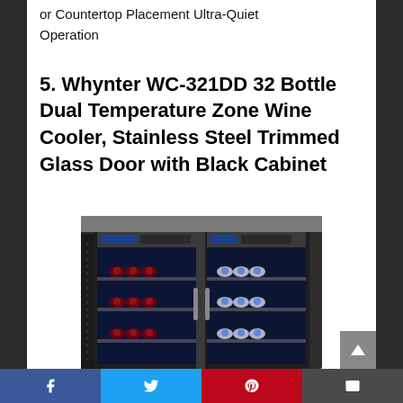or Countertop Placement Ultra-Quiet Operation
5. Whynter WC-321DD 32 Bottle Dual Temperature Zone Wine Cooler, Stainless Steel Trimmed Glass Door with Black Cabinet
[Figure (photo): Photo of the Whynter WC-321DD 32 Bottle Dual Temperature Zone Wine Cooler with two open glass doors showing wine bottles on stainless steel shelves with blue LED lighting, black cabinet exterior]
Facebook | Twitter | Pinterest | Email social sharing bar